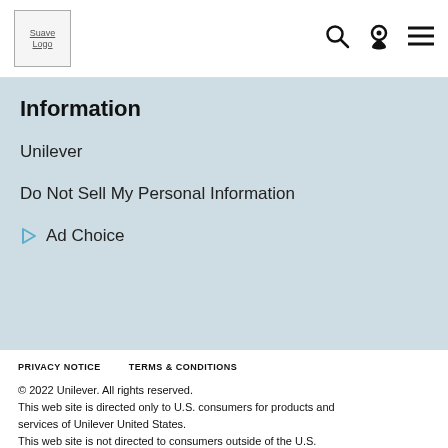[Figure (logo): Suave Logo placeholder image in top-left navigation bar]
Information
Unilever
Do Not Sell My Personal Information
Ad Choice
PRIVACY NOTICE
TERMS & CONDITIONS
[Figure (other): QR code and TOP back-to-top button]
© 2022 Unilever. All rights reserved.
This web site is directed only to U.S. consumers for products and services of Unilever United States.
This web site is not directed to consumers outside of the U.S.